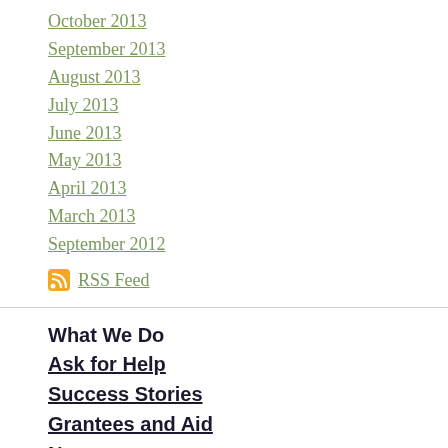October 2013
September 2013
August 2013
July 2013
June 2013
May 2013
April 2013
March 2013
September 2012
RSS Feed
What We Do
Ask for Help
Success Stories
Grantees and Aid
Newsroom
Blog